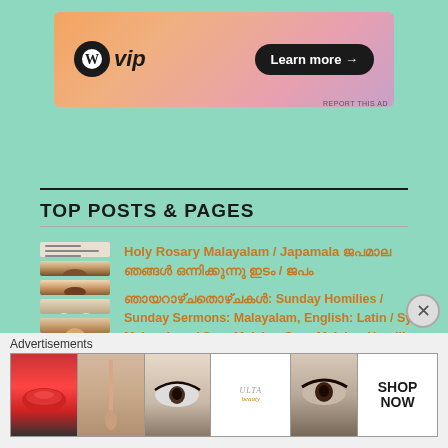[Figure (screenshot): WordPress VIP advertisement banner with gradient background (orange to pink to purple), WordPress W logo, 'vip' text, and 'Learn more →' button]
REPORT THIS AD
TOP POSTS & PAGES
[Figure (photo): Thumbnail image of a religious document/handwritten text]
[Figure (photo): Thumbnail image of Jesus Christ portrait]
[Figure (photo): Thumbnail image of Jesus Christ portrait]
[Figure (photo): Thumbnail image of people dancing (Margam Kali)]
[Figure (photo): Thumbnail image of Jesus Christ portrait]
Holy Rosary Malayalam / Japamala ജപമാല ഞങ്ങൾ ഒന്നിക്കുന്നു ഇടം / ജപം
ഞായറാഴ്ചതൊഴ്ചകൾ: Sunday Homilies / Sunday Sermons: Malayalam, English: Latin / Syro Malanakara / Syro Malabar Syro-Malabar Homilies
Margam Kali Pattu - Lyrics
Home
Advertisements
[Figure (screenshot): ULTA Beauty advertisement strip with makeup/cosmetics imagery including lips, brush, eye, ULTA logo, eyebrow, and SHOP NOW text]